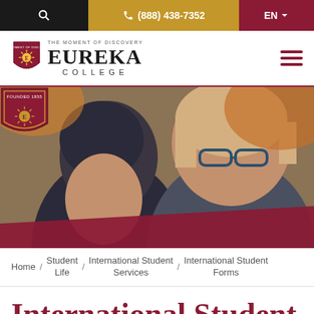(888) 438-7352  EN
[Figure (logo): Eureka College logo with shield emblem and text 'THE MOMENT OF DISCOVERY / EUREKA / COLLEGE']
[Figure (photo): Two smiling young women outdoors in winter clothing, with fall foliage background. A 'Founded 1855' shield badge is visible in the lower right.]
Home / Student Life / International Student Services / International Student Forms
International Student Forms